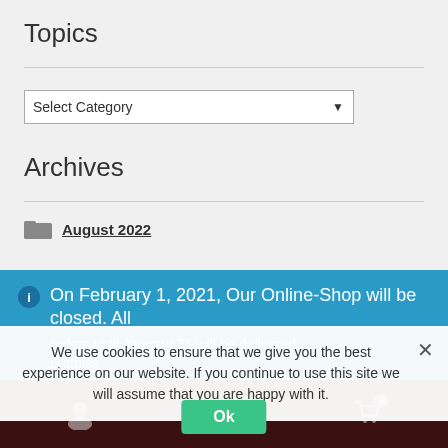Topics
Select Category
Archives
August 2022
On February 1, 2021, Our Online-Shop will be closed. All orders until January 31 will be delivered
Dismiss
We use cookies to ensure that we give you the best experience on our website. If you continue to use this site we will assume that you are happy with it.
Ok